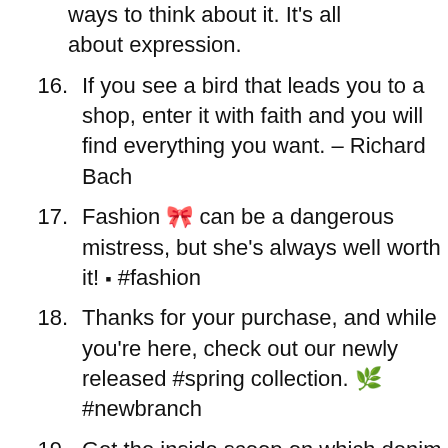ways to think about it. It's all about expression.
16. If you see a bird that leads you to a shop, enter it with faith and you will find everything you want. – Richard Bach
17. Fashion 🎀 can be a dangerous mistress, but she's always well worth it! ▪ #fashion
18. Thanks for your purchase, and while you're here, check out our newly released #spring collection. 🌿 #newbranch
19. Get the inside scoop on which denim styles are trending this